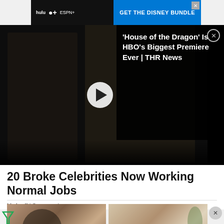[Figure (screenshot): Disney Bundle advertisement banner with Hulu, Disney+, and ESPN+ logos on dark background with blue 'GET THE DISNEY BUNDLE' CTA button]
[Figure (screenshot): Video player showing House of the Dragon scene with two characters, play button overlay. Side panel reads: 'House of the Dragon' Is HBO's Biggest Premiere Ever | THR News]
20 Broke Celebrities Now Working Normal Jobs
kiwiwell | Sponsored
[Figure (photo): Two side-by-side photos: left shows a woman with dark hair looking down in an indoor setting; right shows a bright room with a person and plant]
[Figure (screenshot): Macy's advertisement banner: 'KISS BORING LIPS GOODBYE' with woman model and red lips, SHOP NOW button and Macy's star logo]